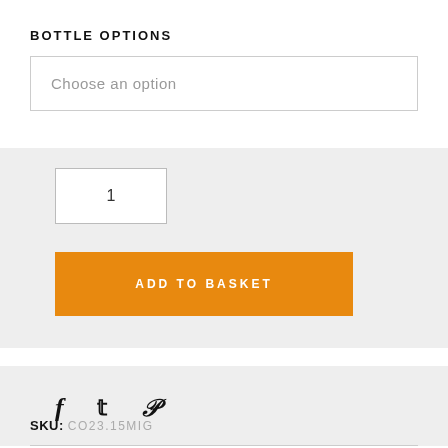BOTTLE OPTIONS
Choose an option
1
ADD TO BASKET
[Figure (other): Social media sharing icons: Facebook (f), Twitter (bird/t), Pinterest (p)]
SKU: CO23.15MIG